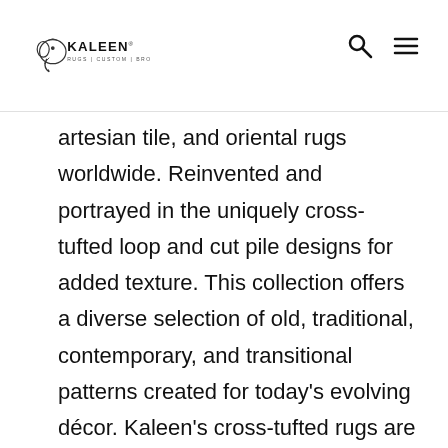KALEEN RUGS|CUSTOM|BROADLOOM
artesian tile, and oriental rugs worldwide. Reinvented and portrayed in the uniquely cross-tufted loop and cut pile designs for added texture. This collection offers a diverse selection of old, traditional, contemporary, and transitional patterns created for today's evolving décor. Kaleen's cross-tufted rugs are made using 100% wool in India. Each rug is then serged by hand and backed with Kaleen's signature cotton canvas. Due to their thick piles and